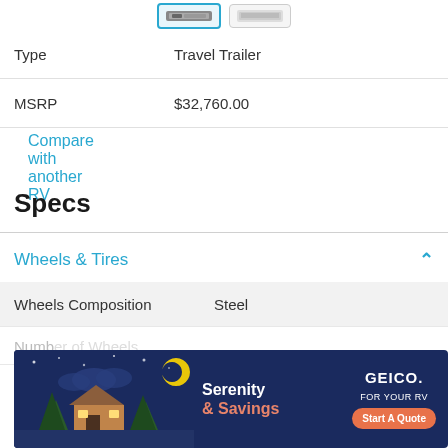[Figure (screenshot): Two thumbnail images of an RV travel trailer at the top of the page, one with a blue border (selected) and one unselected.]
| Field | Value |
| --- | --- |
| Type | Travel Trailer |
| MSRP | $32,760.00 |
Compare with another RV
Specs
Wheels & Tires
| Field | Value |
| --- | --- |
| Wheels Composition | Steel |
| Numb... |  |
| Rear T... |  |
[Figure (other): GEICO advertisement banner: 'Serenity & Savings FOR YOUR RV' with a cartoon house/night scene and a 'Start A Quote' button.]